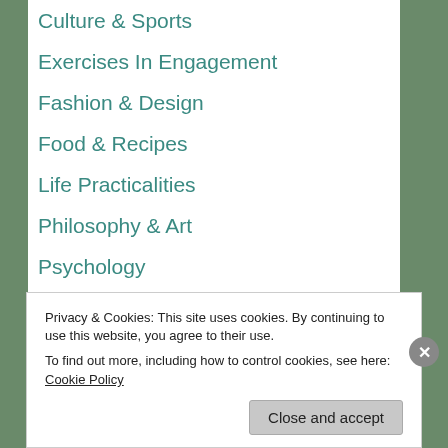Culture & Sports
Exercises In Engagement
Fashion & Design
Food & Recipes
Life Practicalities
Philosophy & Art
Psychology
Sex & Love
Story Thread Posts
Writing
Privacy & Cookies: This site uses cookies. By continuing to use this website, you agree to their use.
To find out more, including how to control cookies, see here: Cookie Policy
Close and accept